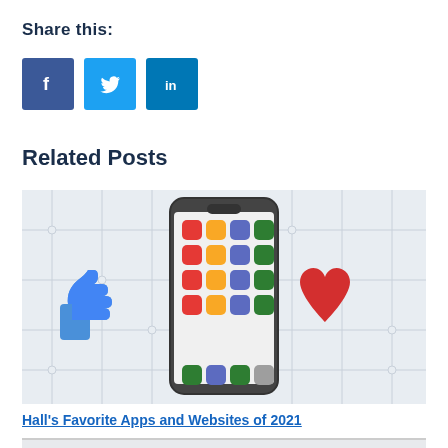Share this:
[Figure (illustration): Three social media share buttons: Facebook (dark blue with f icon), Twitter (light blue with bird icon), LinkedIn (medium blue with in icon)]
Related Posts
[Figure (illustration): Blog post thumbnail showing a smartphone with colorful app icons (red, yellow, blue, green) on a circuit board background, with a blue thumbs-up icon on the left and a red heart icon on the right]
Hall's Favorite Apps and Websites of 2021